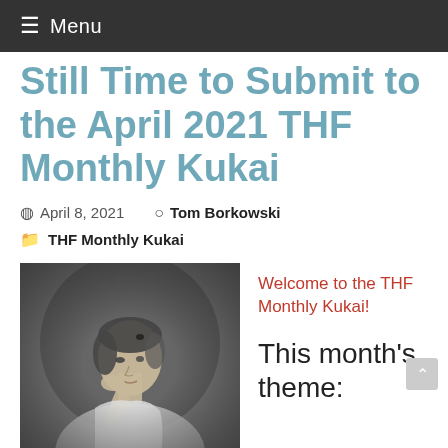≡ Menu
Still Time to Submit to the April 2021 THF Monthly Kukai
April 8, 2021   Tom Borkowski
THF Monthly Kukai
[Figure (photo): Black and white portrait of a young woman in classical dress, resting her chin on her hand in a contemplative pose.]
Welcome to the THF Monthly Kukai!
This month's theme: